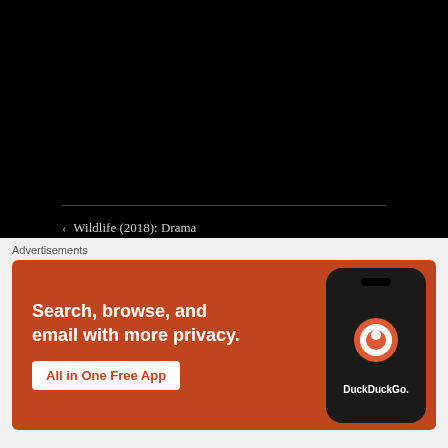< Wildlife (2018): Drama
Split (2016): Horror / Thriller >
Leave a Reply
[Figure (screenshot): DuckDuckGo advertisement banner with orange background showing 'Search, browse, and email with more privacy. All in One Free App' with a phone image showing DuckDuckGo logo]
Advertisements